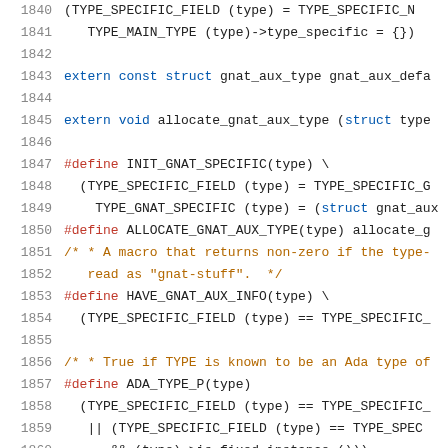Source code listing lines 1840-1860 showing C preprocessor macros and extern declarations for gnat_aux_type
1840: (TYPE_SPECIFIC_FIELD (type) = TYPE_SPECIFIC_N
1841: TYPE_MAIN_TYPE (type)->type_specific = {})
1842: (empty)
1843: extern const struct gnat_aux_type gnat_aux_defa
1844: (empty)
1845: extern void allocate_gnat_aux_type (struct type
1846: (empty)
1847: #define INIT_GNAT_SPECIFIC(type) \
1848: (TYPE_SPECIFIC_FIELD (type) = TYPE_SPECIFIC_G
1849: TYPE_GNAT_SPECIFIC (type) = (struct gnat_aux
1850: #define ALLOCATE_GNAT_AUX_TYPE(type) allocate_g
1851: /* * A macro that returns non-zero if the type-
1852: read as "gnat-stuff".  */
1853: #define HAVE_GNAT_AUX_INFO(type) \
1854: (TYPE_SPECIFIC_FIELD (type) == TYPE_SPECIFIC_
1855: (empty)
1856: /* * True if TYPE is known to be an Ada type of
1857: #define ADA_TYPE_P(type)
1858: (TYPE_SPECIFIC_FIELD (type) == TYPE_SPECIFIC_
1859: || (TYPE_SPECIFIC_FIELD (type) == TYPE_SPEC
1860: && (type)->is_fixed_instance ())